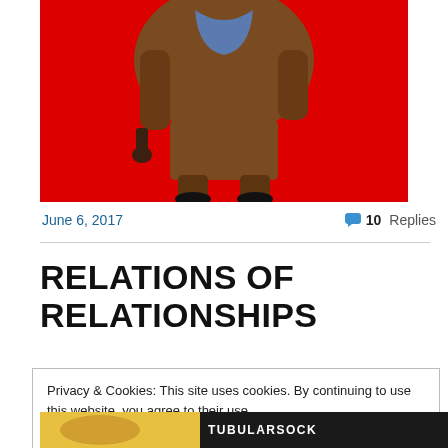[Figure (photo): Partial view of a person in a brown coat standing on a bright red background, lower body only visible]
June 6, 2017
10 Replies
RELATIONS OF RELATIONSHIPS
Privacy & Cookies: This site uses cookies. By continuing to use this website, you agree to their use.
To find out more, including how to control cookies, see here: Cookie Policy
Close and accept
[Figure (photo): Bottom strip showing partial image on left and TUBULARSOCK text on dark background on right]